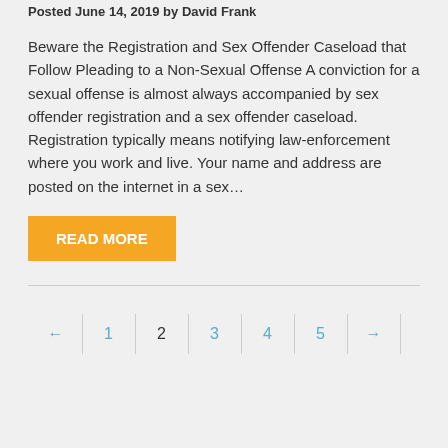Posted June 14, 2019 by David Frank
Beware the Registration and Sex Offender Caseload that Follow Pleading to a Non-Sexual Offense A conviction for a sexual offense is almost always accompanied by sex offender registration and a sex offender caseload. Registration typically means notifying law-enforcement where you work and live. Your name and address are posted on the internet in a sex…
READ MORE
← 1 2 3 4 5 →